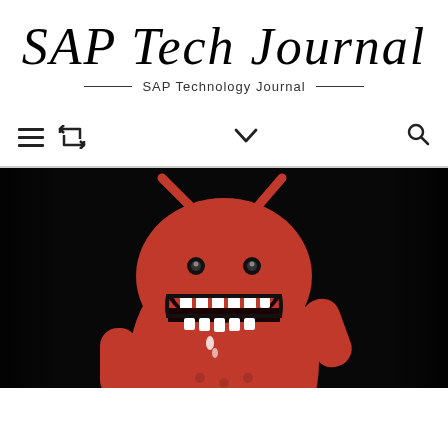SAP Tech Journal
SAP Technology Journal
[Figure (other): Navigation bar with hamburger menu icon, retweet/refresh icon on the left, a chevron/down arrow in center, and a search icon on the right]
[Figure (photo): Close-up photograph of a red Android robot figurine with a menacing open mouth showing teeth, black background, dripping effect, scary/villain version of Android mascot]